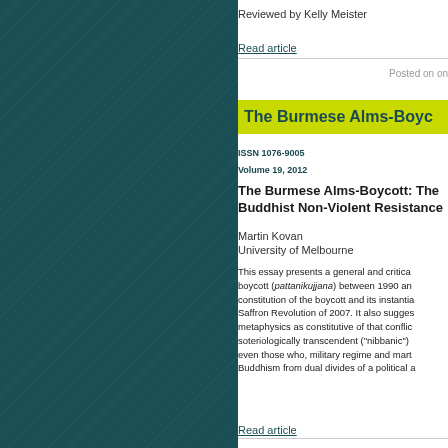Reviewed by Kelly Meister
Read article
Posted on on
The Burmese Alms-Boyc
ISSN 1076-9005
Volume 19, 2012
The Burmese Alms-Boycott: The Buddhist Non-Violent Resistance
Martin Kovan
University of Melbourne
This essay presents a general and critica boycott (pattanikujjana) between 1990 an constitution of the boycott and its instantia Saffron Revolution of 2007. It also sugges metaphysics as constitutive of that conflic soteriologically transcendent ("nibbanic") even those who, military regime and mart Buddhism from dual divides of a political a
Read article